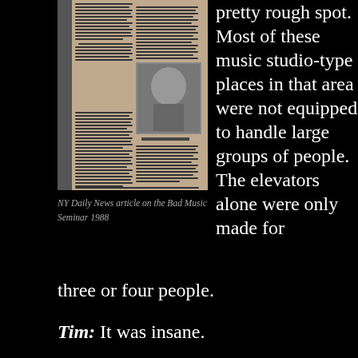[Figure (photo): Scanned newspaper clipping: NY Daily News article about the Bad Music Seminar 1988, with text columns and an embedded photo of Jack Starr]
NY Daily News article on the Bad Music Seminar 1988
pretty rough spot. Most of these music studio-type places in that area were not equipped to handle large groups of people. The elevators alone were only made for three or four people.
Tim: It was insane.